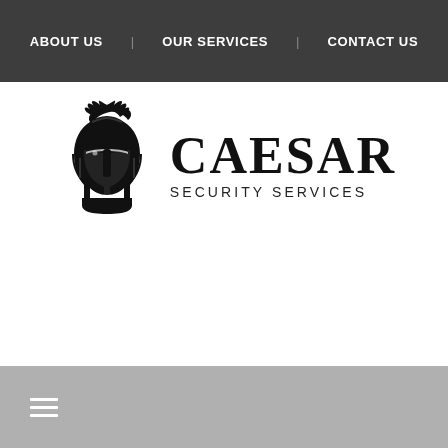ABOUT US   OUR SERVICES   CONTACT US
[Figure (logo): Caesar Security Services logo: black Roman/Spartan helmet silhouette beside the text CAESAR in large serif font with SECURITY SERVICES in smaller uppercase letters below]
EMAIL SUPPORT
info@caesarss.com.au
CALL SUPPORT
1300 844 526
☰ (hamburger menu icon)